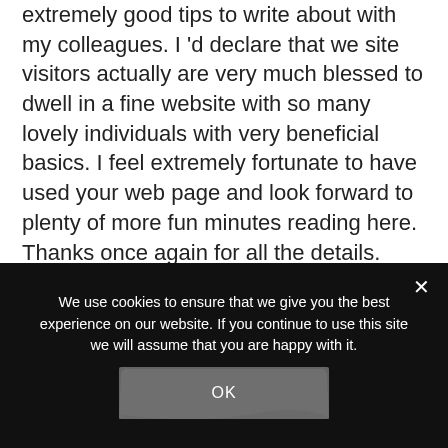extremely good tips to write about with my colleagues. I 'd declare that we site visitors actually are very much blessed to dwell in a fine website with so many lovely individuals with very beneficial basics. I feel extremely fortunate to have used your web page and look forward to plenty of more fun minutes reading here. Thanks once again for all the details.
REPLY
agen judi bola
We use cookies to ensure that we give you the best experience on our website. If you continue to use this site we will assume that you are happy with it.
OK